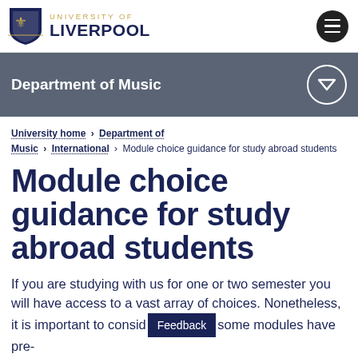[Figure (logo): University of Liverpool shield logo with text 'UNIVERSITY OF LIVERPOOL']
Department of Music
University home > Department of Music > International > Module choice guidance for study abroad students
Module choice guidance for study abroad students
If you are studying with us for one or two semester you will have access to a vast array of choices. Nonetheless, it is important to consider some modules have pre-requisites requiring specific knowledge or